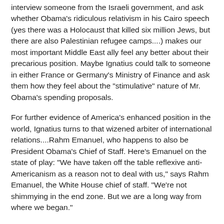interview someone from the Israeli government, and ask whether Obama's ridiculous relativism in his Cairo speech (yes there was a Holocaust that killed six million Jews, but there are also Palestinian refugee camps....) makes our most important Middle East ally feel any better about their precarious position. Maybe Ignatius could talk to someone in either France or Germany's Ministry of Finance and ask them how they feel about the "stimulative" nature of Mr. Obama's spending proposals.
For further evidence of America's enhanced position in the world, Ignatius turns to that wizened arbiter of international relations....Rahm Emanuel, who happens to also be President Obama's Chief of Staff. Here's Emanuel on the state of play: "We have taken off the table reflexive anti-Americanism as a reason not to deal with us," says Rahm Emanuel, the White House chief of staff. "We're not shimmying in the end zone. But we are a long way from where we began."
The naivete of these folks is stunning.